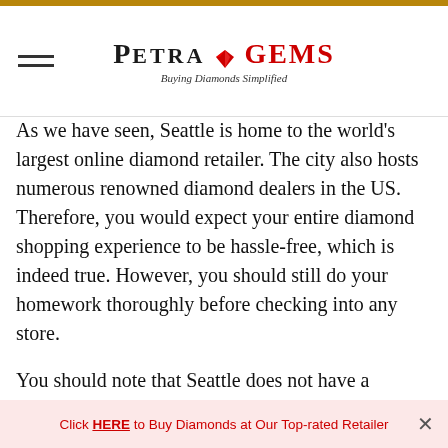PETRAGEMS – Buying Diamonds Simplified
As we have seen, Seattle is home to the world's largest online diamond retailer. The city also hosts numerous renowned diamond dealers in the US. Therefore, you would expect your entire diamond shopping experience to be hassle-free, which is indeed true. However, you should still do your homework thoroughly before checking into any store.
You should note that Seattle does not have a diamond district, though some records suggest that there might have been one. The absence of a diamond district implies that diamond
Click HERE to Buy Diamonds at Our Top-rated Retailer